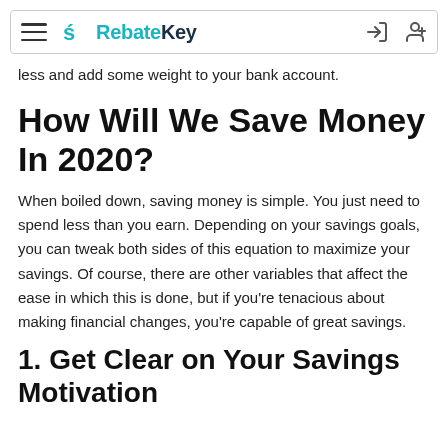RebateKey
less and add some weight to your bank account.
How Will We Save Money In 2020?
When boiled down, saving money is simple. You just need to spend less than you earn. Depending on your savings goals, you can tweak both sides of this equation to maximize your savings. Of course, there are other variables that affect the ease in which this is done, but if you're tenacious about making financial changes, you're capable of great savings.
1. Get Clear on Your Savings Motivation